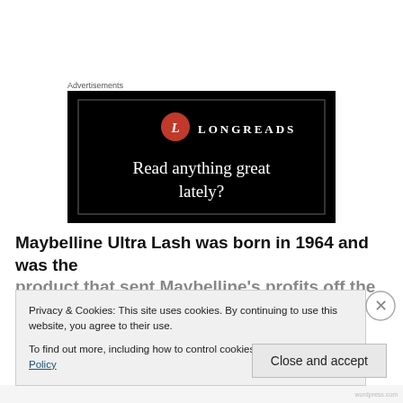Advertisements
[Figure (logo): Longreads advertisement banner with black background, red circle L logo, LONGREADS text, and tagline 'Read anything great lately?']
Maybelline Ultra Lash was born in 1964 and was the
Privacy & Cookies: This site uses cookies. By continuing to use this website, you agree to their use.
To find out more, including how to control cookies, see here: Cookie Policy
Close and accept